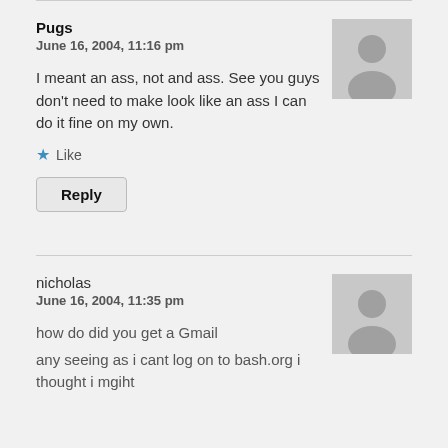Pugs
June 16, 2004, 11:16 pm
I meant an ass, not and ass. See you guys don’t need to make look like an ass I can do it fine on my own.
Like
Reply
nicholas
June 16, 2004, 11:35 pm
how do did you get a Gmail
any seeing as i cant log on to bash.org i thought i mgiht